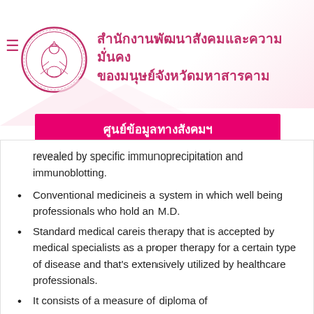[Figure (logo): Circular emblem/seal with Thai deity figure in pink/magenta color]
สำนักงานพัฒนาสังคมและความมั่นคงของมนุษย์จังหวัดมหาสารคาม
ศูนย์ข้อมูลทางสังคมฯ
revealed by specific immunoprecipitation and immunoblotting.
Conventional medicineis a system in which well being professionals who hold an M.D.
Standard medical careis therapy that is accepted by medical specialists as a proper therapy for a certain type of disease and that's extensively utilized by healthcare professionals.
It consists of a measure of diploma of